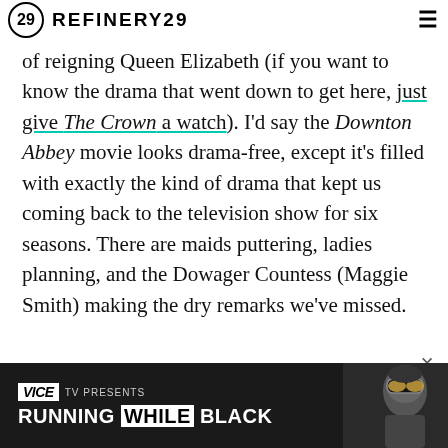REFINERY29
of reigning Queen Elizabeth (if you want to know the drama that went down to get here, just give The Crown a watch). I'd say the Downton Abbey movie looks drama-free, except it's filled with exactly the kind of drama that kept us coming back to the television show for six seasons. There are maids puttering, ladies planning, and the Dowager Countess (Maggie Smith) making the dry remarks we've missed.
ADVERTISEMENT
[Figure (screenshot): Vice TV advertisement banner: 'VICE TV PRESENTS RUNNING WHILE BLACK' with image of person wearing ski goggles on the right side.]